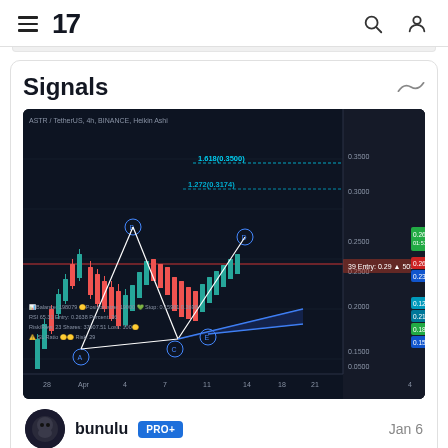TradingView navigation header with hamburger menu, logo, search and user icons
Signals
[Figure (screenshot): TradingView chart screenshot showing ASTR/TetherUS 4h BINANCE Heikin Ashi candlestick chart with a bullish Bat/Crab harmonic pattern (points A, B, C, D, E), Fibonacci levels 1.619(0.3500) and 1.272(0.3174) marked, target zones and entry/stop loss levels on the right panel. Trading parameters shown at the bottom including position size, entry price, stop loss, R/R ratio, and P&L metrics.]
bunulu PRO+ Jan 6